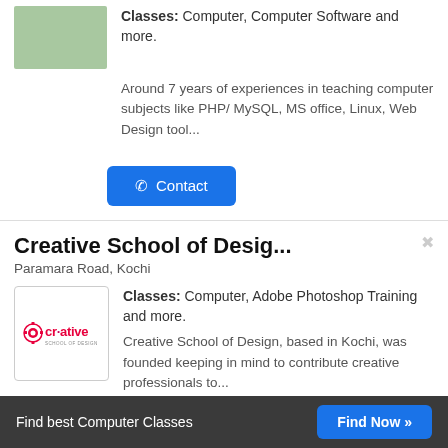Classes: Computer, Computer Software and more.
Around 7 years of experiences in teaching computer subjects like PHP/ MySQL, MS office, Linux, Web Design tool...
Contact
Creative School of Desig...
Paramara Road, Kochi
[Figure (logo): Creative School of Design logo with pink/red 'creative' text]
Classes: Computer, Adobe Photoshop Training and more.
Creative School of Design, based in Kochi, was founded keeping in mind to contribute creative professionals to...
Contact
Find best Computer Classes   Find Now »